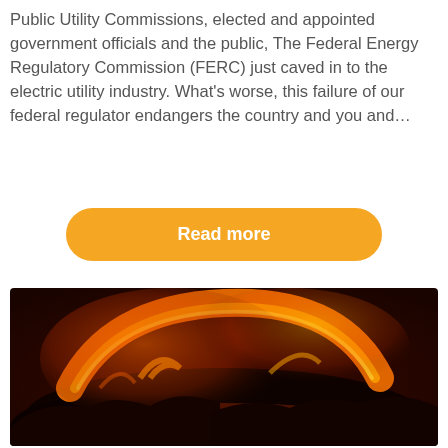Public Utility Commissions, elected and appointed government officials and the public, The Federal Energy Regulatory Commission (FERC) just caved in to the electric utility industry. What's worse, this failure of our federal regulator endangers the country and you and...
[Figure (other): Button labeled 'Read more' with orange/yellow rounded rectangle background]
[Figure (photo): Close-up photograph of glowing lava or fire with orange and red swirling flames against a dark background]